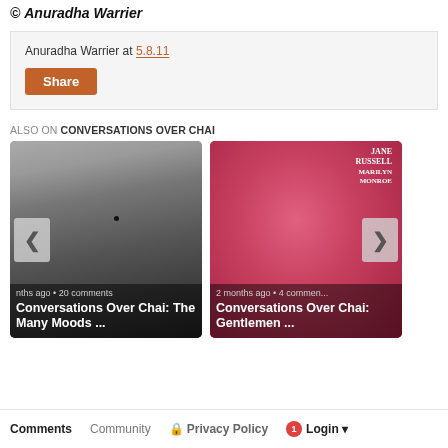© Anuradha Warrier
Anuradha Warrier at 5.8.11
Share
ALSO ON CONVERSATIONS OVER CHAI
[Figure (photo): Black and white portrait photo of a woman with a bindi. Card shows '...nths ago • 20 comments' and title 'Conversations Over Chai: The Many Moods ...']
[Figure (photo): Pink/red vintage movie poster featuring Jane Russell and Marilyn Monroe. Card shows '2 months ago • 4 comments' and title 'Conversations Over Chai: Gentlemen ...']
Comments   Community   Privacy Policy   1   Login